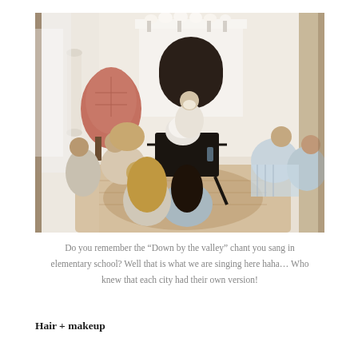[Figure (photo): Group of women in pajamas and robes sitting in a circle on the floor of an elegant room with a fireplace, white mantel decorated with flowers, and a salmon/pink velvet chair. They appear to be laughing and talking together.]
Do you remember the “Down by the valley” chant you sang in elementary school? Well that is what we are singing here haha… Who knew that each city had their own version!
Hair + makeup